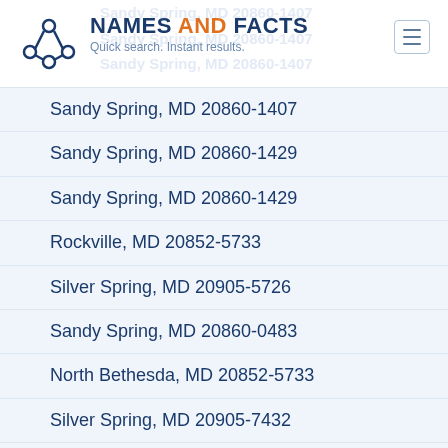NAMES AND FACTS — Quick search. Instant results.
Sandy Spring, MD 20860-1407
Sandy Spring, MD 20860-1429
Sandy Spring, MD 20860-1429
Rockville, MD 20852-5733
Silver Spring, MD 20905-5726
Sandy Spring, MD 20860-0483
North Bethesda, MD 20852-5733
Silver Spring, MD 20905-7432
Silver Spring, MD 20906-5702
Rockville, MD 20850-1512
Silver Spring, MD 20906
Silver Spring, MD 20906